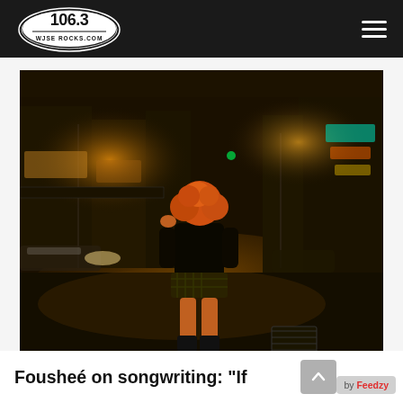106.3 WJSE ROCKS.COM
[Figure (photo): Woman with curly orange hair standing on a city street at night, wearing a black hoodie and plaid skirt, with city lights and traffic in the background]
Fousheé on songwriting: “If